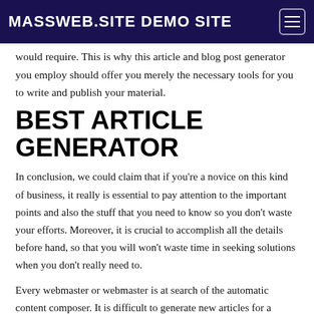MASSWEB.SITE DEMO SITE
would require. This is why this article and blog post generator you employ should offer you merely the necessary tools for you to write and publish your material.
BEST ARTICLE GENERATOR
In conclusion, we could claim that if you're a novice on this kind of business, it really is essential to pay attention to the important points and also the stuff that you need to know so you don't waste your efforts. Moreover, it is crucial to accomplish all the details before hand, so that you will won't waste time in seeking solutions when you don't really need to.
Every webmaster or webmaster is at search of the automatic content composer. It is difficult to generate new articles for a